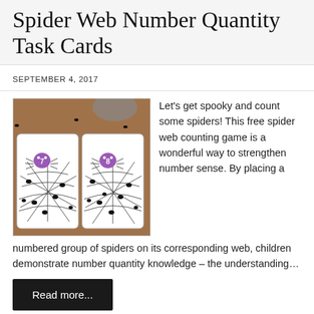Spider Web Number Quantity Task Cards
SEPTEMBER 4, 2017
[Figure (photo): Two spider web task cards on a wooden table with small plastic spider figurines placed on them. Each card shows a spider web design with a numbered spider in the center (7 and 8). A jar and a basket are visible in the background.]
Let's get spooky and count some spiders! This free spider web counting game is a wonderful way to strengthen number sense. By placing a numbered group of spiders on its corresponding web, children demonstrate number quantity knowledge – the understanding…
Read more...
Free Fall Board Activit...